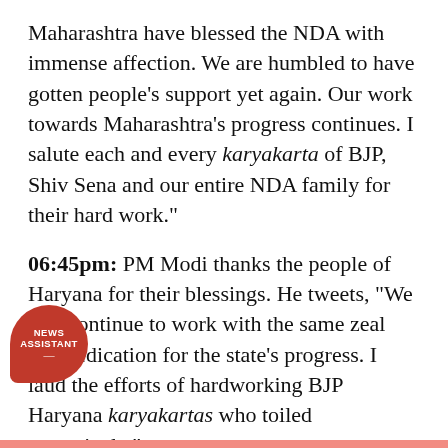Maharashtra have blessed the NDA with immense affection. We are humbled to have gotten people’s support yet again. Our work towards Maharashtra’s progress continues. I salute each and every karyakarta of BJP, Shiv Sena and our entire NDA family for their hard work.”
06:45pm: PM Modi thanks the people of Haryana for their blessings. He tweets, “We will continue to work with the same zeal and dedication for the state’s progress. I laud the efforts of hardworking BJP Haryana karyakartas who toiled extensively.”
06:35pm: Official trends in Maharashtra
[Figure (logo): News Assistant circular badge/logo in red]